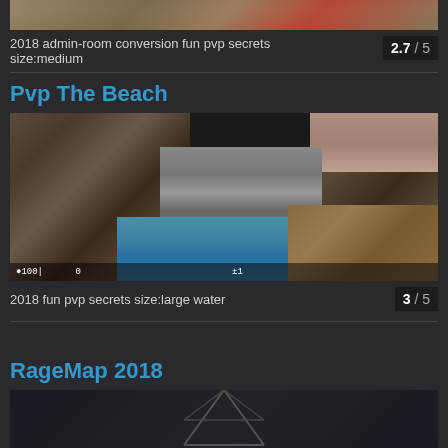[Figure (screenshot): Partial game map screenshot at top of page (cropped)]
2018 admin-room conversion fun pvp secrets size:medium   2.7 / 5
Pvp The Beach
[Figure (screenshot): Game map screenshot showing beach scene with stone walls, blue water, and a building]
2018 fun pvp secrets size:large water   3 / 5
RageMap 2018
[Figure (screenshot): Partial game map screenshot at bottom of page (cropped)]